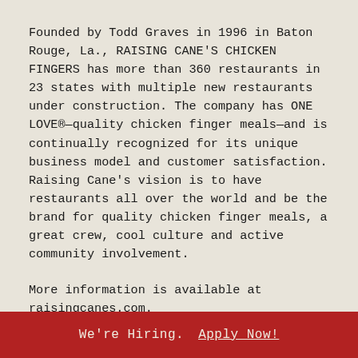Founded by Todd Graves in 1996 in Baton Rouge, La., RAISING CANE'S CHICKEN FINGERS has more than 360 restaurants in 23 states with multiple new restaurants under construction. The company has ONE LOVE®—quality chicken finger meals—and is continually recognized for its unique business model and customer satisfaction. Raising Cane's vision is to have restaurants all over the world and be the brand for quality chicken finger meals, a great crew, cool culture and active community involvement.
More information is available at raisingcanes.com.
# # #
We're Hiring.   Apply Now!